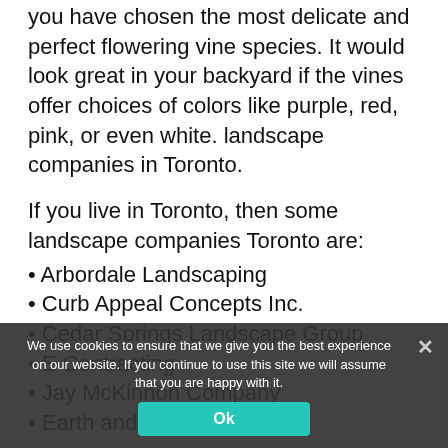you have chosen the most delicate and perfect flowering vine species. It would look great in your backyard if the vines offer choices of colors like purple, red, pink, or even white. landscape companies in Toronto.
If you live in Toronto, then some landscape companies Toronto are:
Arbordale Landscaping
Curb Appeal Concepts Inc.
Cedar Springs Landscape Group
E Contracting
Jay McKinnon Company
Earth and Sole
These are some of the landscapers Toronto and landscaping contractors in Toronto. Another idea that makes a beautiful landscape is your driveway. You can choose and use the right plants and materials and decorate it. Therefore
We use cookies to ensure that we give you the best experience on our website. If you continue to use this site we will assume that you are happy with it.